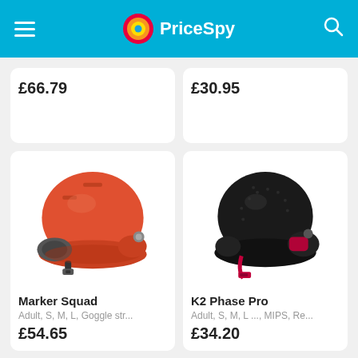PriceSpy
£66.79
£30.95
[Figure (photo): Orange ski helmet (Marker Squad) on white background]
Marker Squad
Adult, S, M, L, Goggle str...
£54.65
[Figure (photo): Black ski helmet with red straps (K2 Phase Pro) on white background]
K2 Phase Pro
Adult, S, M, L ..., MIPS, Re...
£34.20
[Figure (photo): Blue/teal ski helmet partially visible at bottom]
[Figure (photo): Partially visible helmet at bottom right]